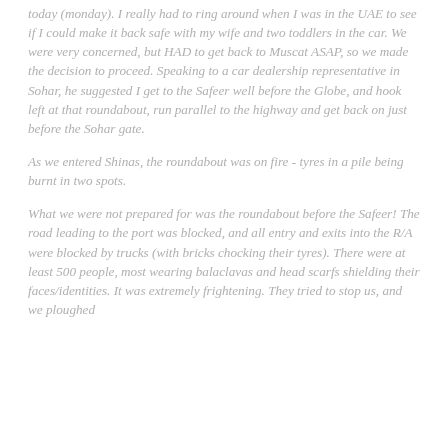today (monday). I really had to ring around when I was in the UAE to see if I could make it back safe with my wife and two toddlers in the car. We were very concerned, but HAD to get back to Muscat ASAP, so we made the decision to proceed. Speaking to a car dealership representative in Sohar, he suggested I get to the Safeer well before the Globe, and hook left at that roundabout, run parallel to the highway and get back on just before the Sohar gate.
As we entered Shinas, the roundabout was on fire - tyres in a pile being burnt in two spots.
What we were not prepared for was the roundabout before the Safeer! The road leading to the port was blocked, and all entry and exits into the R/A were blocked by trucks (with bricks chocking their tyres). There were at least 500 people, most wearing balaclavas and head scarfs shielding their faces/identities. It was extremely frightening. They tried to stop us, and we ploughed